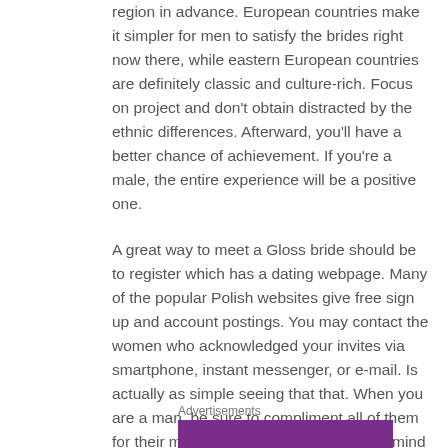region in advance. European countries make it simpler for men to satisfy the brides right now there, while eastern European countries are definitely classic and culture-rich. Focus on project and don’t obtain distracted by the ethnic differences. Afterward, you’ll have a better chance of achievement. If you’re a male, the entire experience will be a positive one.
A great way to meet a Gloss bride should be to register which has a dating webpage. Many of the popular Polish websites give free sign up and account postings. You may contact the women who acknowledged your invites via smartphone, instant messenger, or e-mail. Is actually as simple seeing that that. When you are a man, be sure to compliment all of them for their magnificence and style. Keep in mind that these women happen to be devoted to all their men, techniques not forget to reciprocate the love.
Advertisements
[Figure (other): Purple advertisement banner (partially visible at bottom of page)]